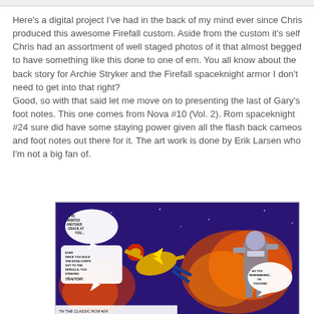Here's a digital project I've had in the back of my mind ever since Chris produced this awesome Firefall custom. Aside from the custom it's self Chris had an assortment of well staged photos of it that almost begged to have something like this done to one of em. You all know about the back story for Archie Stryker and the Firefall spaceknight armor I don't need to get into that right?
Good, so with that said let me move on to presenting the last of Gary's foot notes. This one comes from Nova #10 (Vol. 2). Rom spaceknight #24 sure did have some staying power given all the flash back cameos and foot notes out there for it. The art work is done by Erik Larsen who I'm not a big fan of.
[Figure (illustration): Comic book panel from Nova #10 (Vol. 2) showing superhero characters in action. A hero in gold costume flies forward with speech bubble text. Another armored character is on the right side with flames in the background. Caption at bottom reads 'IN THE CLASSIC ROM #24'. Speech bubbles include 'I'VE WANTED ANOTHER CRACK AT YOU...', 'EVER SINCE YOU SOLD THE NOVA CORPS OUT TO THE SKRULLS, YOU STINKING TRAITOR!', and 'AS YOU REMEMBERED... I TOUCHED.']